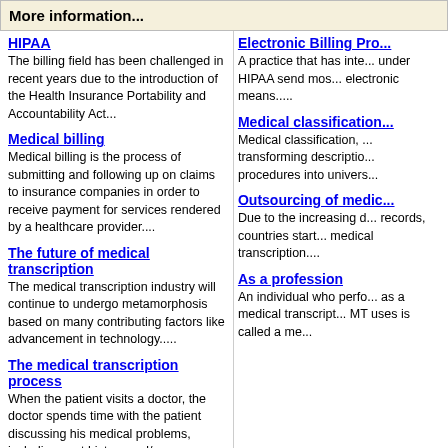More information...
HIPAA
The billing field has been challenged in recent years due to the introduction of the Health Insurance Portability and Accountability Act...
Medical billing
Medical billing is the process of submitting and following up on claims to insurance companies in order to receive payment for services rendered by a healthcare provider....
The future of medical transcription
The medical transcription industry will continue to undergo metamorphosis based on many contributing factors like advancement in technology.....
The medical transcription process
When the patient visits a doctor, the doctor spends time with the patient discussing his medical problems, including past history and/or problems.....
Medical transcription
Medical transcription, also known as MT, is an allied health profession, which deals in the process of transcription, or converting voice-recorded reports as dictated by physicians
Electronic Billing Pro...
A practice that has inte... under HIPAA send mos... electronic means.....
Medical classification...
Medical classification, ... transforming descriptio... procedures into univers...
Outsourcing of medic...
Due to the increasing d... records, countries start... medical transcription....
As a profession
An individual who perfo... as a medical transcript... MT uses is called a me...